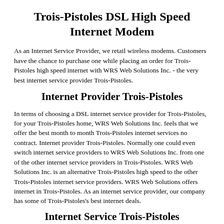Trois-Pistoles DSL High Speed Internet Modem
As an Internet Service Provider, we retail wireless modems. Customers have the chance to purchase one while placing an order for Trois-Pistoles high speed internet with WRS Web Solutions Inc. - the very best internet service provider Trois-Pistoles.
Internet Provider Trois-Pistoles
In terms of choosing a DSL internet service provider for Trois-Pistoles, for your Trois-Pistoles home, WRS Web Solutions Inc. feels that we offer the best month to month Trois-Pistoles internet services no contract. Internet provider Trois-Pistoles. Normally one could even switch internet service providers to WRS Web Solutions Inc. from one of the other internet service providers in Trois-Pistoles. WRS Web Solutions Inc. is an alternative Trois-Pistoles high speed to the other Trois-Pistoles internet service providers. WRS Web Solutions offers internet in Trois-Pistoles. As an internet service provider, our company has some of Trois-Pistoles's best internet deals.
Internet Service Trois-Pistoles